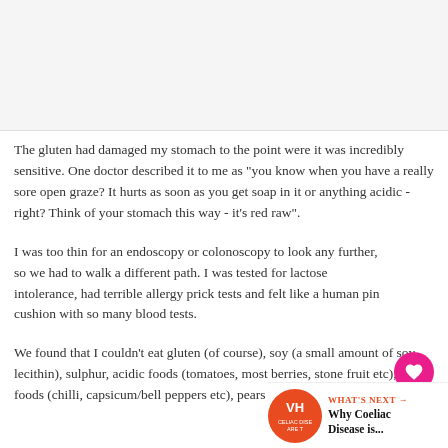[Figure (photo): Blank/placeholder image area at top of page]
The gluten had damaged my stomach to the point were it was incredibly sensitive. One doctor described it to me as "you know when you have a really sore open graze? It hurts as soon as you get soap in it or anything acidic - right? Think of your stomach this way - it's red raw".
I was too thin for an endoscopy or colonoscopy to look any further, so we had to walk a different path. I was tested for lactose intolerance, had terrible allergy prick tests and felt like a human pin cushion with so many blood tests.
We found that I couldn't eat gluten (of course), soy (a small amount of soy lecithin), sulphur, acidic foods (tomatoes, most berries, stone fruit etc), spicy foods (chilli, capsicum/bell peppers etc), pears (yes, the most hypo-allergenic